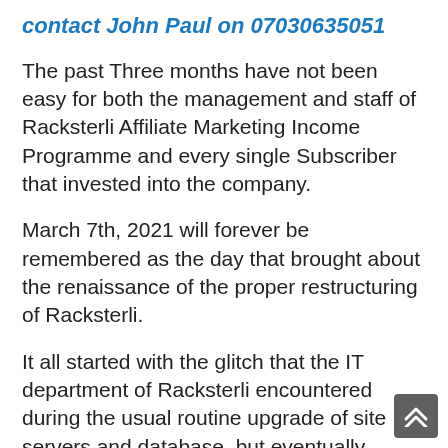contact John Paul on 07030635051
The past Three months have not been easy for both the management and staff of Racksterli Affiliate Marketing Income Programme and every single Subscriber that invested into the company.
March 7th, 2021 will forever be remembered as the day that brought about the renaissance of the proper restructuring of Racksterli.
It all started with the glitch that the IT department of Racksterli encountered during the usual routine upgrade of site servers and database, but eventually metamorphosised into a full blown crisis that led to Racksterli